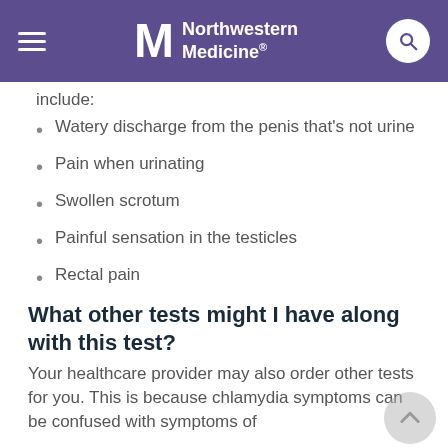Northwestern Medicine
include:
Watery discharge from the penis that's not urine
Pain when urinating
Swollen scrotum
Painful sensation in the testicles
Rectal pain
What other tests might I have along with this test?
Your healthcare provider may also order other tests for you. This is because chlamydia symptoms can be confused with symptoms of